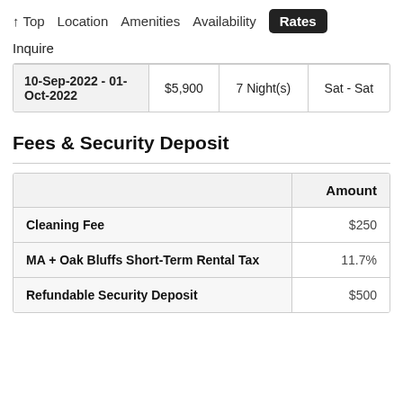↑ Top   Location   Amenities   Availability   Rates
Inquire
|  |  |  |  |
| --- | --- | --- | --- |
| 10-Sep-2022 - 01-Oct-2022 | $5,900 | 7 Night(s) | Sat - Sat |
Fees & Security Deposit
|  | Amount |
| --- | --- |
| Cleaning Fee | $250 |
| MA + Oak Bluffs Short-Term Rental Tax | 11.7% |
| Refundable Security Deposit | $500 |